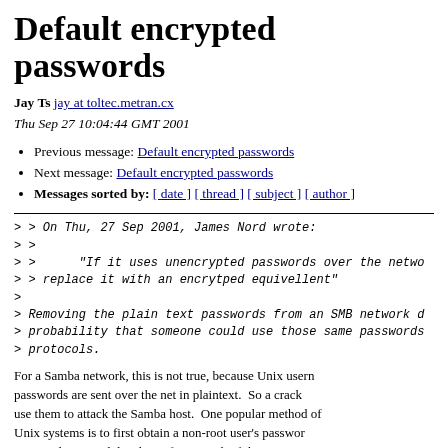Default encrypted passwords
Jay Ts jay at toltec.metran.cx
Thu Sep 27 10:04:44 GMT 2001
Previous message: Default encrypted passwords
Next message: Default encrypted passwords
Messages sorted by: [ date ] [ thread ] [ subject ] [ author ]
> > On Thu, 27 Sep 2001, James Nord wrote:
> >
> >      "If it uses unencrypted passwords over the netwo
> > replace it with an encrytped equivellent"
>
> Removing the plain text passwords from an SMB network d
> probability that someone could use those same passwords
> protocols.
For a Samba network, this is not true, because Unix usern passwords are sent over the net in plaintext.  So a crack use them to attack the Samba host.  One popular method of Unix systems is to first obtain a non-root user's passwor use it to log in and do a brute force crack of the root p
> ... it is likely that assuming that they have
> enough skill, they can compromise any system on the